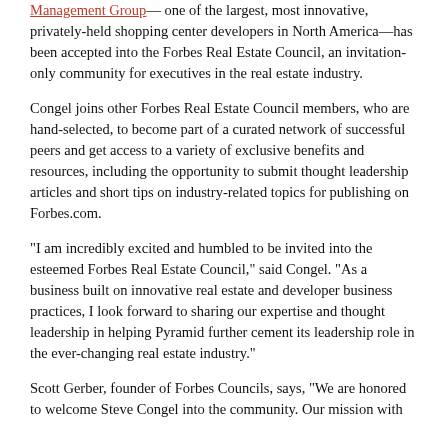Management Group— one of the largest, most innovative, privately-held shopping center developers in North America—has been accepted into the Forbes Real Estate Council, an invitation-only community for executives in the real estate industry.
Congel joins other Forbes Real Estate Council members, who are hand-selected, to become part of a curated network of successful peers and get access to a variety of exclusive benefits and resources, including the opportunity to submit thought leadership articles and short tips on industry-related topics for publishing on Forbes.com.
“I am incredibly excited and humbled to be invited into the esteemed Forbes Real Estate Council,” said Congel. “As a business built on innovative real estate and developer business practices, I look forward to sharing our expertise and thought leadership in helping Pyramid further cement its leadership role in the ever-changing real estate industry.”
Scott Gerber, founder of Forbes Councils, says, “We are honored to welcome Steve Congel into the community. Our mission with